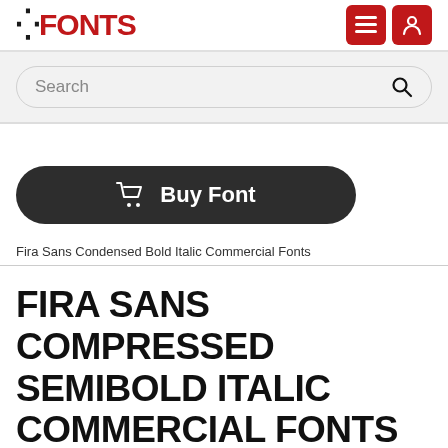FONTS
Search
Buy Font
Fira Sans Condensed Bold Italic Commercial Fonts
FIRA SANS COMPRESSED SEMIBOLD ITALIC COMMERCIAL FONTS